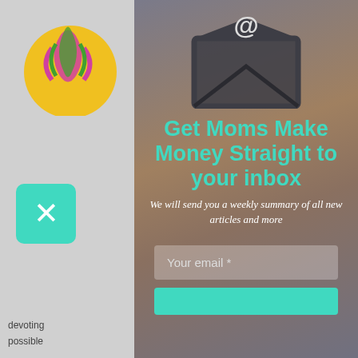[Figure (screenshot): Left sidebar panel of a website partially visible, showing a logo with yellow circle and colorful figure, a teal close (X) button, partial text 'devoting', 'possible', 'Please do', a Pinterest checkbox row, and a Search label.]
[Figure (illustration): Email/newsletter signup modal overlay with dark envelope icon containing @ symbol at top, teal headline text, italic white subtext, email input field, and teal submit button.]
Get Moms Make Money Straight to your inbox
We will send you a weekly summary of all new articles and more
Your email *